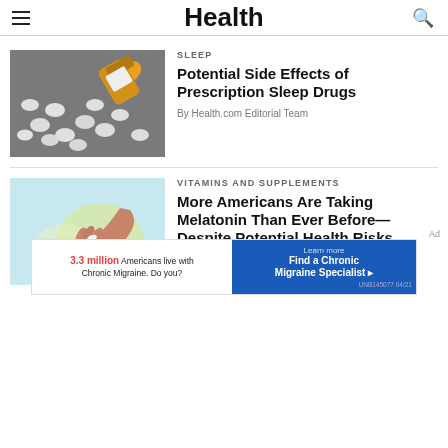Health
SLEEP
[Figure (photo): Orange pill bottle tipped over with white pills spilled out on a dark surface]
Potential Side Effects of Prescription Sleep Drugs
By Health.com Editorial Team
VITAMINS AND SUPPLEMENTS
[Figure (photo): Two hands holding a small white pill between fingers against a light blue and yellow background]
More Americans Are Taking Melatonin Than Ever Before—Despite Potential Health Risks
By Jessie Van Amburg
[Figure (infographic): Advertisement banner: '3.3 million Americans live with Chronic Migraine. Do you? Learn more / Find a Chronic Migraine Specialist']